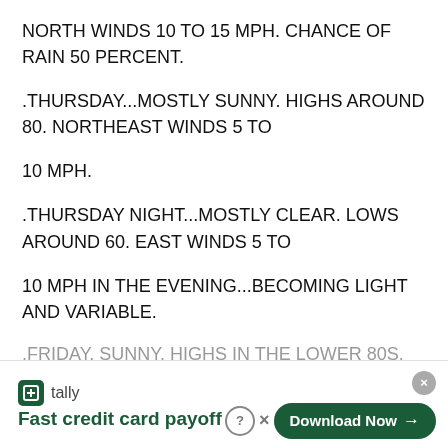NORTH WINDS 10 TO 15 MPH. CHANCE OF RAIN 50 PERCENT.
.THURSDAY...MOSTLY SUNNY. HIGHS AROUND 80. NORTHEAST WINDS 5 TO
10 MPH.
.THURSDAY NIGHT...MOSTLY CLEAR. LOWS AROUND 60. EAST WINDS 5 TO
10 MPH IN THE EVENING...BECOMING LIGHT AND VARIABLE.
.FRIDAY. SUNNY. HIGHS IN THE LOWER 80S.
[Figure (other): Tally app advertisement banner: 'Fast credit card payoff' with Download Now button]